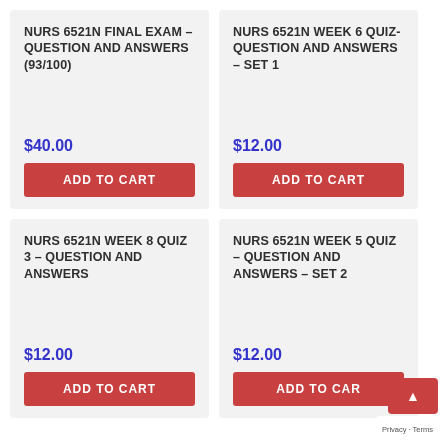NURS 6521N FINAL EXAM – QUESTION AND ANSWERS (93/100)
$40.00
ADD TO CART
NURS 6521N WEEK 6 QUIZ- QUESTION AND ANSWERS – SET 1
$12.00
ADD TO CART
NURS 6521N WEEK 8 QUIZ 3 – QUESTION AND ANSWERS
$12.00
ADD TO CART
NURS 6521N WEEK 5 QUIZ – QUESTION AND ANSWERS – SET 2
$12.00
ADD TO CART